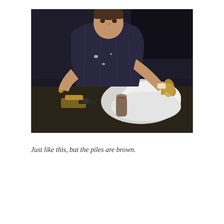[Figure (photo): A man in a dark pinstripe suit sits slouched behind a large desk covered with white powder (cocaine), gold ornaments, and a gun. He rests one arm on an ornate gold fixture. The scene is from the movie Scarface.]
Just like this, but the piles are brown.